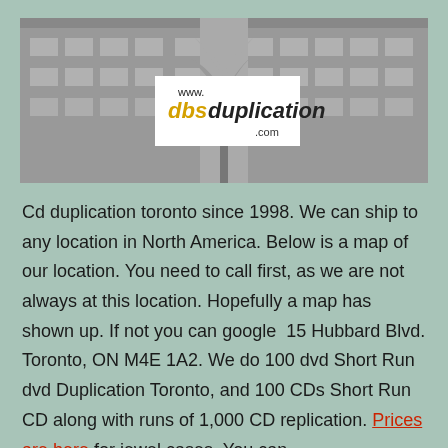[Figure (photo): Banner image showing a brick building (mirrored) in grayscale with a white center box containing the DBS Duplication logo: 'www.' in black, 'dbs' in yellow/gold bold italic, 'duplication' in black bold italic, '.com' in black.]
Cd duplication toronto since 1998. We can ship to any location in North America. Below is a map of our location. You need to call first, as we are not always at this location. Hopefully a map has shown up. If not you can google 15 Hubbard Blvd. Toronto, ON M4E 1A2. We do 100 dvd Short Run dvd Duplication Toronto, and 100 CDs Short Run CD along with runs of 1,000 CD replication. Prices are here for jewel cases. You can